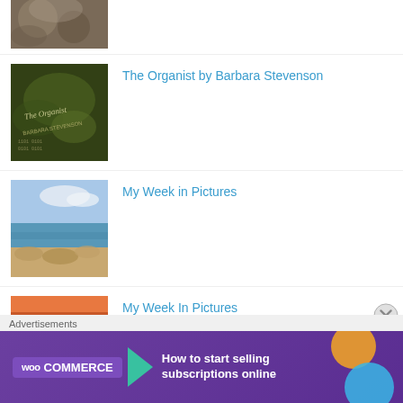[Figure (photo): Blurry macro photo of some organic texture, partially cropped at top]
[Figure (photo): Book cover: The Organist by Barbara Stevenson, dark background with text]
The Organist by Barbara Stevenson
[Figure (photo): Coastal/seascape photo with rocky shore and blue sky]
My Week in Pictures
[Figure (photo): Sunset photo with horizontal banding of pink, purple and dark tones]
My Week In Pictures
[Figure (photo): Partial photo at bottom, partially cut off]
My Week In Pictures – Looking Back
Advertisements
[Figure (infographic): WooCommerce advertisement banner: How to start selling subscriptions online]